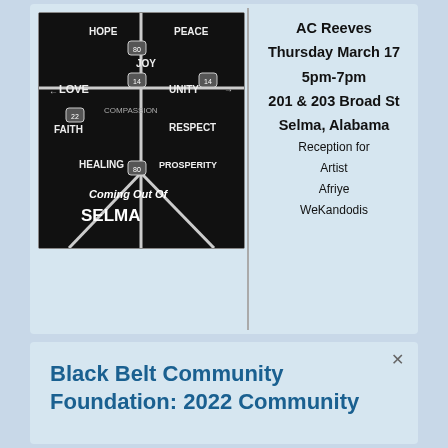[Figure (photo): Black t-shirt with road map graphic showing words: HOPE, PEACE, LOVE, JOY, UNITY, COMPASSION, FAITH, RESPECT, HEALING, PROSPERITY, and text 'Coming Out Of SELMA']
AC Reeves
Thursday March 17
5pm-7pm
201 & 203 Broad St
Selma, Alabama
Reception for
Artist
Afriye
WeKandodis
Black Belt Community Foundation: 2022 Community